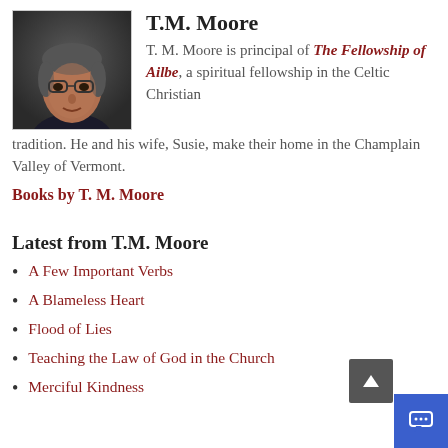[Figure (photo): Headshot photo of T.M. Moore, an older man with glasses and gray hair, wearing a dark shirt.]
T.M. Moore
T. M. Moore is principal of The Fellowship of Ailbe, a spiritual fellowship in the Celtic Christian tradition. He and his wife, Susie, make their home in the Champlain Valley of Vermont.
Books by T. M. Moore
Latest from T.M. Moore
A Few Important Verbs
A Blameless Heart
Flood of Lies
Teaching the Law of God in the Church
Merciful Kindness